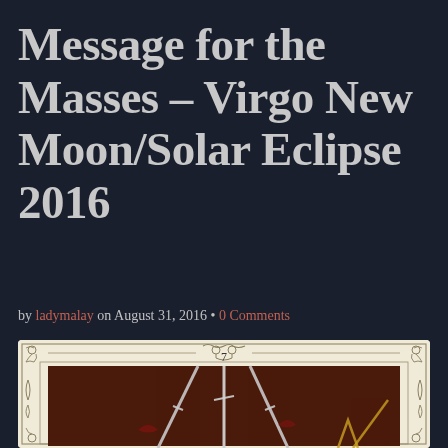Message for the Masses – Virgo New Moon/Solar Eclipse 2016
by ladymalay on August 31, 2016 • 0 Comments
[Figure (illustration): Tarot card number 7, showing swords illustration with ornate Art Nouveau border decorations on cream/ivory background, with dark reddish-brown image area showing crossed swords]